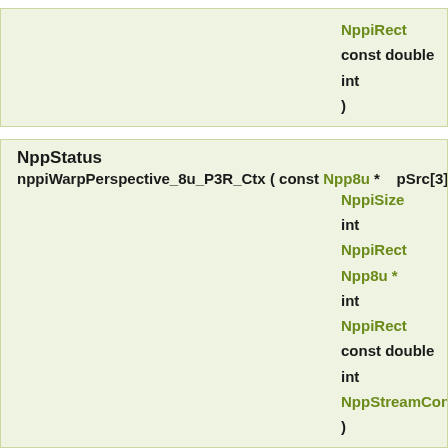NppiRect oDstROI, const double aCoeffs[3][3], int eInterpolation )
NppStatus nppiWarpPerspective_8u_P3R_Ctx ( const Npp8u * pSrc[3], NppiSize oSrcSize, int nSrcStep, NppiRect oSrcROI, Npp8u * pDst[3], int nDstStep, NppiRect oDstROI, const double aCoeffs[3][3], int eInterpolation, NppStreamContext nppStreamCtx )